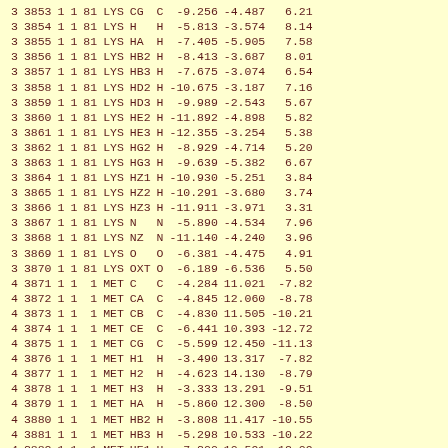| 3 | 3853 | 1 | 1 | 81 | LYS | CG | C | -9.256 | -4.487 | 6.21 |
| 3 | 3854 | 1 | 1 | 81 | LYS | H | H | -5.813 | -3.574 | 8.14 |
| 3 | 3855 | 1 | 1 | 81 | LYS | HA | H | -7.405 | -5.905 | 7.58 |
| 3 | 3856 | 1 | 1 | 81 | LYS | HB2 | H | -8.413 | -3.687 | 8.01 |
| 3 | 3857 | 1 | 1 | 81 | LYS | HB3 | H | -7.675 | -3.074 | 6.54 |
| 3 | 3858 | 1 | 1 | 81 | LYS | HD2 | H | -10.675 | -3.187 | 7.16 |
| 3 | 3859 | 1 | 1 | 81 | LYS | HD3 | H | -9.989 | -2.543 | 5.67 |
| 3 | 3860 | 1 | 1 | 81 | LYS | HE2 | H | -11.892 | -4.898 | 5.82 |
| 3 | 3861 | 1 | 1 | 81 | LYS | HE3 | H | -12.355 | -3.254 | 5.38 |
| 3 | 3862 | 1 | 1 | 81 | LYS | HG2 | H | -8.929 | -4.714 | 5.20 |
| 3 | 3863 | 1 | 1 | 81 | LYS | HG3 | H | -9.639 | -5.382 | 6.67 |
| 3 | 3864 | 1 | 1 | 81 | LYS | HZ1 | H | -10.930 | -5.251 | 3.84 |
| 3 | 3865 | 1 | 1 | 81 | LYS | HZ2 | H | -10.291 | -3.680 | 3.74 |
| 3 | 3866 | 1 | 1 | 81 | LYS | HZ3 | H | -11.911 | -3.971 | 3.31 |
| 3 | 3867 | 1 | 1 | 81 | LYS | N | N | -5.890 | -4.534 | 7.96 |
| 3 | 3868 | 1 | 1 | 81 | LYS | NZ | N | -11.140 | -4.240 | 3.96 |
| 3 | 3869 | 1 | 1 | 81 | LYS | O | O | -6.381 | -4.475 | 4.91 |
| 3 | 3870 | 1 | 1 | 81 | LYS | OXT | O | -6.189 | -6.536 | 5.50 |
| 4 | 3871 | 1 | 1 | 1 | MET | C | C | -4.284 | 11.021 | -7.82 |
| 4 | 3872 | 1 | 1 | 1 | MET | CA | C | -4.845 | 12.060 | -8.78 |
| 4 | 3873 | 1 | 1 | 1 | MET | CB | C | -4.830 | 11.505 | -10.21 |
| 4 | 3874 | 1 | 1 | 1 | MET | CE | C | -6.441 | 10.393 | -12.72 |
| 4 | 3875 | 1 | 1 | 1 | MET | CG | C | -5.599 | 12.450 | -11.13 |
| 4 | 3876 | 1 | 1 | 1 | MET | H1 | H | -3.490 | 13.317 | -7.82 |
| 4 | 3877 | 1 | 1 | 1 | MET | H2 | H | -4.623 | 14.130 | -8.79 |
| 4 | 3878 | 1 | 1 | 1 | MET | H3 | H | -3.333 | 13.291 | -9.51 |
| 4 | 3879 | 1 | 1 | 1 | MET | HA | H | -5.860 | 12.300 | -8.50 |
| 4 | 3880 | 1 | 1 | 1 | MET | HB2 | H | -3.808 | 11.417 | -10.55 |
| 4 | 3881 | 1 | 1 | 1 | MET | HB3 | H | -5.298 | 10.533 | -10.22 |
| 4 | 3882 | 1 | 1 | 1 | MET | HE1 | H | -7.300 | 10.591 | -12.09 |